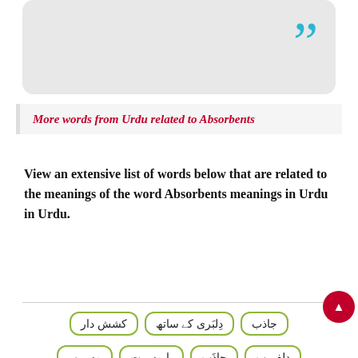[Figure (illustration): Gray rounded rectangle box with large cyan closing quotation marks in bottom-right corner]
More words from Urdu related to Absorbents
View an extensive list of words below that are related to the meanings of the word Absorbents meanings in Urdu in Urdu.
جاذب
دِلبَری کے ساتھ
کشش دار
دلفریب
جاذَب
با مسرت
مسرور
دلچسپ
خشک کرنے والا
دِلکَش